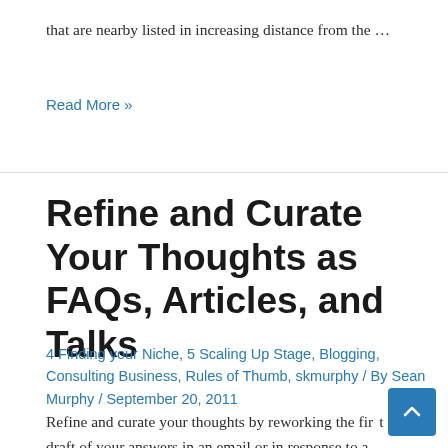that are nearby listed in increasing distance from the …
Read More »
Refine and Curate Your Thoughts as FAQs, Articles, and Talks
4 Finding your Niche, 5 Scaling Up Stage, Blogging, Consulting Business, Rules of Thumb, skmurphy / By Sean Murphy / September 20, 2011
Refine and curate your thoughts by reworking the first draft of your answers in an email or in response to a